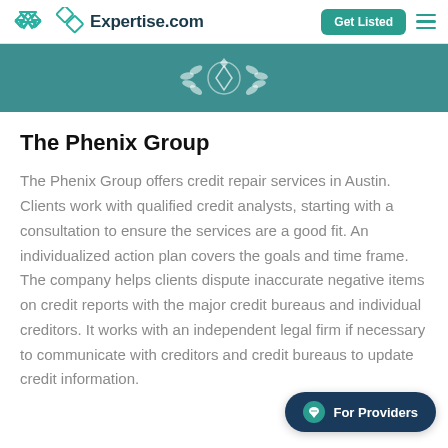Expertise.com
[Figure (illustration): Teal banner with decorative laurel/leaf wreath emblem in white]
The Phenix Group
The Phenix Group offers credit repair services in Austin. Clients work with qualified credit analysts, starting with a consultation to ensure the services are a good fit. An individualized action plan covers the goals and time frame. The company helps clients dispute inaccurate negative items on credit reports with the major credit bureaus and individual creditors. It works with an independent legal firm if necessary to communicate with creditors and credit bureaus to update credit information.